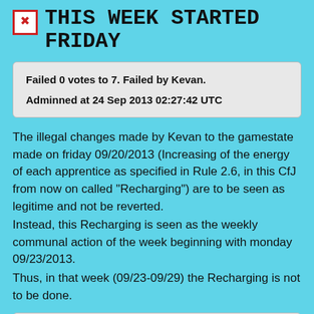THIS WEEK STARTED FRIDAY
Failed 0 votes to 7. Failed by Kevan.
Adminned at 24 Sep 2013 02:27:42 UTC
The illegal changes made by Kevan to the gamestate made on friday 09/20/2013 (Increasing of the energy of each apprentice as specified in Rule 2.6, in this CfJ from now on called "Recharging") are to be seen as legitime and not be reverted.
Instead, this Recharging is seen as the weekly communal action of the week beginning with monday 09/23/2013.
Thus, in that week (09/23-09/29) the Recharging is not to be done.